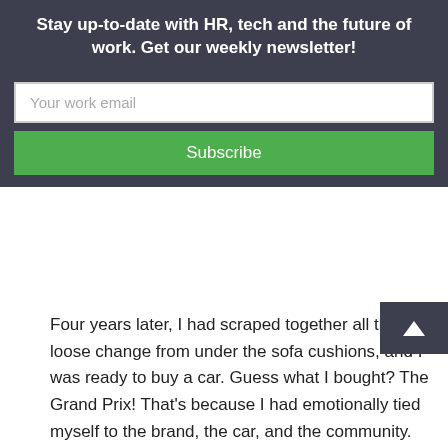Stay up-to-date with HR, tech and the future of work. Get our weekly newsletter!
Your work email
Subscribe
Four years later, I had scraped together all the loose change from under the sofa cushions, and I was ready to buy a car. Guess what I bought? The Grand Prix! That's because I had emotionally tied myself to the brand, the car, and the community. When I was ready to purchase, it wasn't even a question who would earn my business.
While my story is just one example, this type of brand loyalty exists with everything from the food we eat to the blue jeans we wear, and beyond. When people become a part of something, their purchasing decisions change. And so some let?So la the